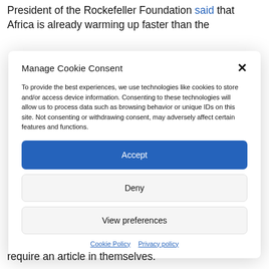President of the Rockefeller Foundation said that Africa is already warming up faster than the
Manage Cookie Consent
To provide the best experiences, we use technologies like cookies to store and/or access device information. Consenting to these technologies will allow us to process data such as browsing behavior or unique IDs on this site. Not consenting or withdrawing consent, may adversely affect certain features and functions.
Accept
Deny
View preferences
Cookie Policy  Privacy policy
require an article in themselves.